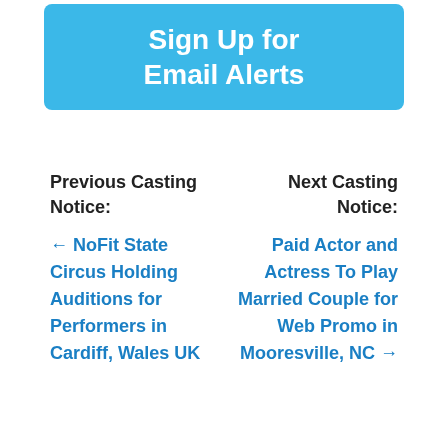[Figure (other): Blue button with white text reading 'Sign Up for Email Alerts']
Previous Casting Notice:
Next Casting Notice:
← NoFit State Circus Holding Auditions for Performers in Cardiff, Wales UK
Paid Actor and Actress To Play Married Couple for Web Promo in Mooresville, NC →